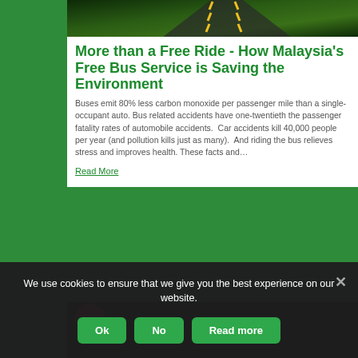[Figure (photo): Road with yellow lane markings, dark green toned overhead view]
More than a Free Ride - How Malaysia's Free Bus Service is Saving the Environment
Buses emit 80% less carbon monoxide per passenger mile than a single-occupant auto. Bus related accidents have one-twentieth the passenger fatality rates of automobile accidents.  Car accidents kill 40,000 people per year (and pollution kills just as many).  And riding the bus relieves stress and improves health. These facts and…
Read More
[Figure (screenshot): Partial view of second article card with pink circle avatar on dark background]
We use cookies to ensure that we give you the best experience on our website.